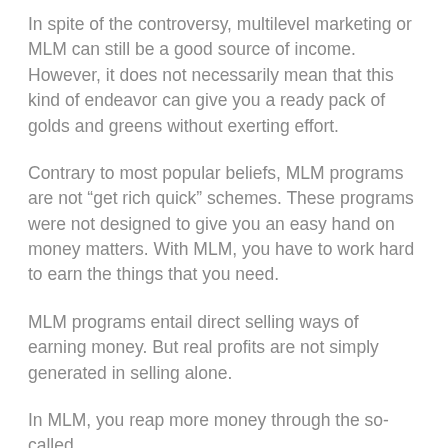In spite of the controversy, multilevel marketing or MLM can still be a good source of income. However, it does not necessarily mean that this kind of endeavor can give you a ready pack of golds and greens without exerting effort.
Contrary to most popular beliefs, MLM programs are not “get rich quick” schemes. These programs were not designed to give you an easy hand on money matters. With MLM, you have to work hard to earn the things that you need.
MLM programs entail direct selling ways of earning money. But real profits are not simply generated in selling alone.
In MLM, you reap more money through the so-called